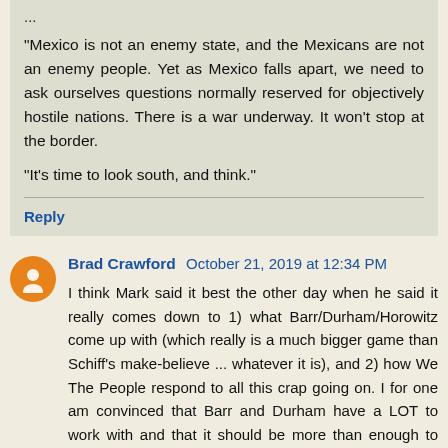...
"Mexico is not an enemy state, and the Mexicans are not an enemy people. Yet as Mexico falls apart, we need to ask ourselves questions normally reserved for objectively hostile nations. There is a war underway. It won’t stop at the border.
"It’s time to look south, and think."
Reply
Brad Crawford  October 21, 2019 at 12:34 PM
I think Mark said it best the other day when he said it really comes down to 1) what Barr/Durham/Horowitz come up with (which really is a much bigger game than Schiff’s make-believe ... whatever it is), and 2) how We The People respond to all this crap going on. I for one am convinced that Barr and Durham have a LOT to work with and that it should be more than enough to smother in the cradle whatever form of grotesque